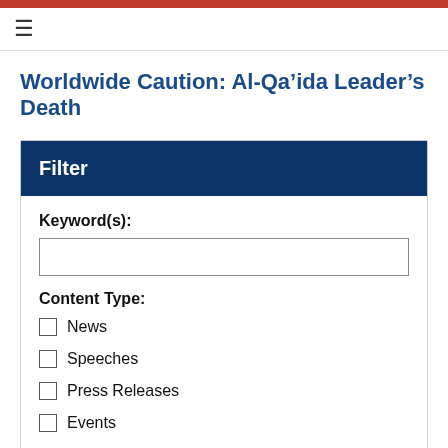Worldwide Caution: Al-Qa’ida Leader’s Death
Filter
Keyword(s):
Content Type:
News
Speeches
Press Releases
Events